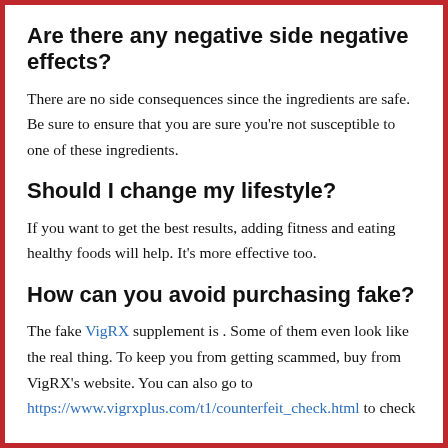Are there any negative side negative effects?
There are no side consequences since the ingredients are safe. Be sure to ensure that you are sure you’re not susceptible to one of these ingredients.
Should I change my lifestyle?
If you want to get the best results, adding fitness and eating healthy foods will help. It’s more effective too.
How can you avoid purchasing fake?
The fake VigRX supplement is . Some of them even look like the real thing. To keep you from getting scammed, buy from VigRX’s website. You can also go to https://www.vigrxplus.com/t1/counterfeit_check.html to check